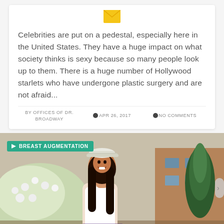[Figure (illustration): Yellow email envelope icon centered at top of card]
Celebrities are put on a pedestal, especially here in the United States. They have a huge impact on what society thinks is sexy because so many people look up to them. There is a huge number of Hollywood starlets who have undergone plastic surgery and are not afraid...
BY OFFICES OF DR. BROADWAY | APR 26, 2017 | NO COMMENTS
[Figure (photo): Photo of a smiling young woman wearing a white tank top and white baseball cap, with a plaid shirt tied around her waist, standing outdoors near flowering bushes and evergreen trees with a brick building in the background. A teal 'BREAST AUGMENTATION' tag label overlays the top-left corner.]